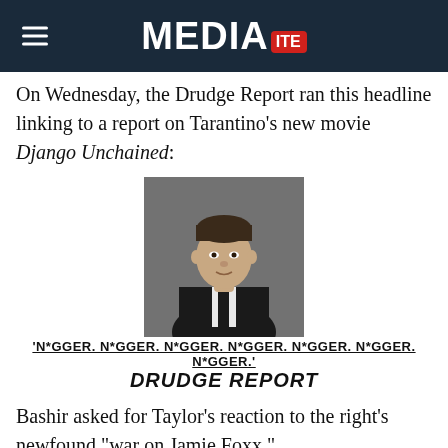MEDIAITE
On Wednesday, the Drudge Report ran this headline linking to a report on Tarantino’s new movie Django Unchained:
[Figure (photo): Photo of Quentin Tarantino in a black suit with a black tie, against a blurred background, with Drudge Report headline below reading: 'N*GGER. N*GGER. N*GGER. N*GGER. N*GGER. N*GGER. N*GGER.' DRUDGE REPORT]
Bashir asked for Taylor’s reaction to the right’s newfound “war on Jamie Foxx.”
Taylor said that Drudge would never become an